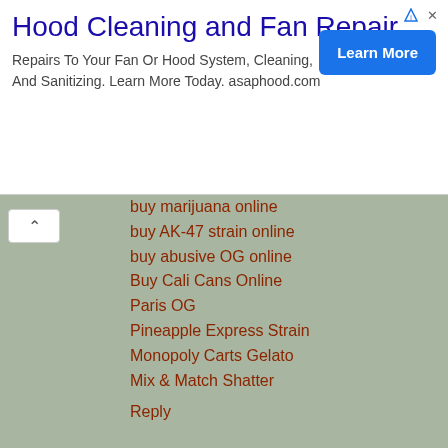[Figure (screenshot): Advertisement banner for Hood Cleaning and Fan Repair service (asaphood.com) with a blue Learn More button]
buy marijuana online
buy AK-47 strain online
buy abusive OG online
Buy Cali Cans Online
Paris OG
Pineapple Express Strain
Monopoly Carts Gelato
Mix & Match Shatter
Reply
Lordship Richard  January 28, 2021 at 3:46 PM
Buy Gelato Online
The best cannabis Dispensary near me
buy Cali Cans Online
buy juul pods online
buy marijuana online